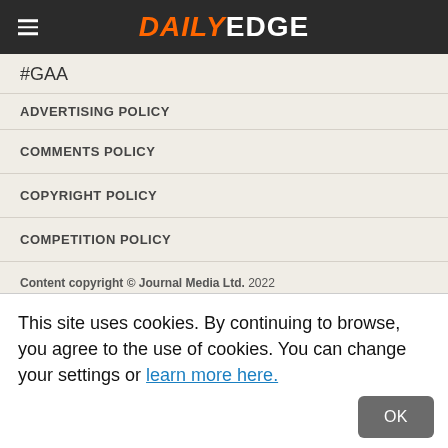DAILY EDGE
#GAA
ADVERTISING POLICY
COMMENTS POLICY
COPYRIGHT POLICY
COMPETITION POLICY
Content copyright © Journal Media Ltd. 2022 Registered in Dublin, registration number: 483632.
This site uses cookies. By continuing to browse, you agree to the use of cookies. You can change your settings or learn more here.